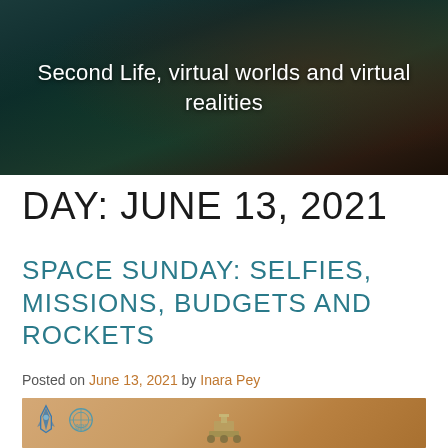Second Life, virtual worlds and virtual realities
DAY: JUNE 13, 2021
SPACE SUNDAY: SELFIES, MISSIONS, BUDGETS AND ROCKETS
Posted on June 13, 2021 by Inara Pey
[Figure (photo): Blog header image with logos and Mars rover illustration on sandy/orange background]